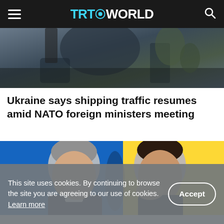TRT WORLD
[Figure (photo): Cropped top portion of a news article image showing military/vehicle equipment in dark tones]
Ukraine says shipping traffic resumes amid NATO foreign ministers meeting
[Figure (photo): Two men facing each other and smiling, with a blue and yellow (Ukrainian flag) background. Left man has grey hair in a suit, right man is younger with dark hair.]
This site uses cookies. By continuing to browse the site you are agreeing to our use of cookies. Learn more